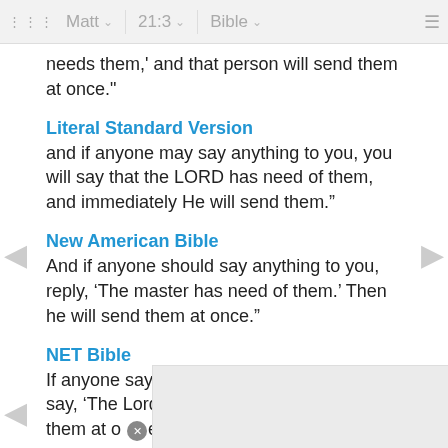Matt  21:3  Bible
needs them,' and that person will send them at once."
Literal Standard Version
and if anyone may say anything to you, you will say that the LORD has need of them, and immediately He will send them.”
New American Bible
And if anyone should say anything to you, reply, ‘The master has need of them.’ Then he will send them at once.”
NET Bible
If anyone says anything to you, you are to say, ‘The Lord needs them,’ and he will send them at once.”
New
If any